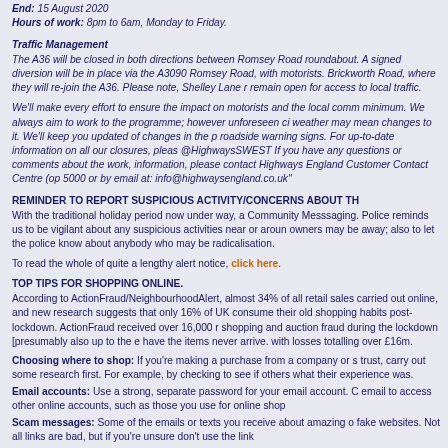End: 15 August 2020
Hours of work: 8pm to 6am, Monday to Friday.
Traffic Management
The A36 will be closed in both directions between Romsey Road roundabout. A signed diversion will be in place via the A3090 Romsey Road, with motorists. Brickworth Road, where they will re-join the A36. Please note, Shelley Lane r remain open for access to local traffic.
We'll make every effort to ensure the impact on motorists and the local comm minimum. We always aim to work to the programme; however unforeseen ci weather may mean changes to it. We'll keep you updated of changes in the p roadside warning signs. For up-to-date information on all our closures, please @HighwaysSWEST If you have any questions or comments about the work, information, please contact Highways England Customer Contact Centre (op 5000 or by email at: info@highwaysengland.co.uk"
REMINDER TO REPORT SUSPICIOUS ACTIVITY/CONCERNS ABOUT TH
With the traditional holiday period now under way, a Community Messsaging. Police reminds us to be vigilant about any suspicious activities near or aroun owners may be away; also to let the police know about anybody who may be radicalisation.
To read the whole of quite a lengthy alert notice, click here.
TOP TIPS FOR SHOPPING ONLINE.
According to ActionFraud/NeighbourhoodAlert, almost 34% of all retail sales carried out online, and new research suggests that only 16% of UK consume their old shopping habits post-lockdown. ActionFraud received over 16,000 r shopping and auction fraud during the lockdown [presumably also up to the e have the items never arrive. with losses totalling over £16m.
Choosing where to shop: If you're making a purchase from a company or s trust, carry out some research first. For example, by checking to see if others what their experience was.
Email accounts: Use a strong, separate password for your email account. C email to access other online accounts, such as those you use for online shop
Scam messages: Some of the emails or texts you receive about amazing o fake websites. Not all links are bad, but if you're unsure don't use the link